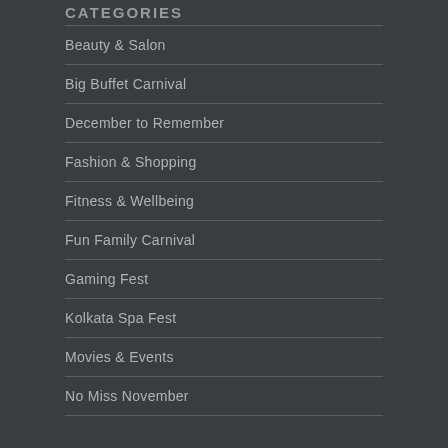CATEGORIES
Beauty & Salon
Big Buffet Carnival
December to Remember
Fashion & Shopping
Fitness & Wellbeing
Fun Family Carnival
Gaming Fest
Kolkata Spa Fest
Movies & Events
No Miss November